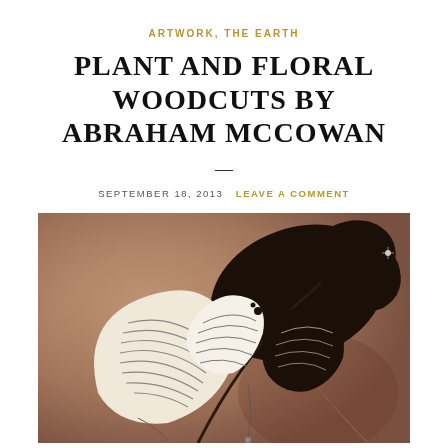ARTWORK, THE EARTH
PLANT AND FLORAL WOODCUTS BY ABRAHAM MCCOWAN
—
SEPTEMBER 18, 2013   LEAVE A COMMENT
[Figure (illustration): A detailed black and white woodcut illustration of plant/floral forms with intricate line work showing leaves, seed pods, and organic shapes against a warm brown/rust textured background.]